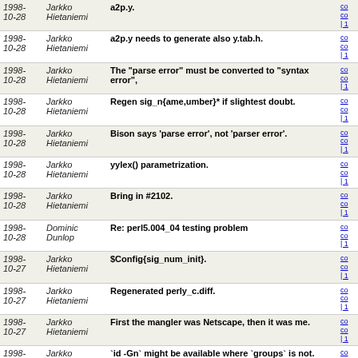| Date | Author | Subject | Links |
| --- | --- | --- | --- |
| 1998-10-28 | Jarkko Hietaniemi | a2p.y. | co co | 1 |
| 1998-10-28 | Jarkko Hietaniemi | a2p.y needs to generate also y.tab.h. | co co | 1 |
| 1998-10-28 | Jarkko Hietaniemi | The "parse error" must be converted to "syntax error", | co co | 1 |
| 1998-10-28 | Jarkko Hietaniemi | Regen sig_n{ame,umber}* if slightest doubt. | co co | 1 |
| 1998-10-28 | Jarkko Hietaniemi | Bison says 'parse error', not 'parser error'. | co co | 1 |
| 1998-10-28 | Jarkko Hietaniemi | yylex() parametrization. | co co | 1 |
| 1998-10-28 | Jarkko Hietaniemi | Bring in #2102. | co co | 1 |
| 1998-10-28 | Dominic Dunlop | Re: perl5.004_04 testing problem | co co | 1 |
| 1998-10-27 | Jarkko Hietaniemi | $Config{sig_num_init}. | co co | 1 |
| 1998-10-27 | Jarkko Hietaniemi | Regenerated perly_c.diff. | co co | 1 |
| 1998-10-27 | Jarkko Hietaniemi | First the mangler was Netscape, then it was me. | co co | 1 |
| 1998-10-27 | Jarkko Hietaniemi | `id -Gn` might be available where `groups` is not. | co co | 1 |
| 1998-10-27 | Jarkko Hietaniemi | Netscape had mangled the tabs. | co co | 1 |
| 1998-10-27 | Neale Ferguson | ATTR_JOINABLE logic, based on (private email) | co co | 1 |